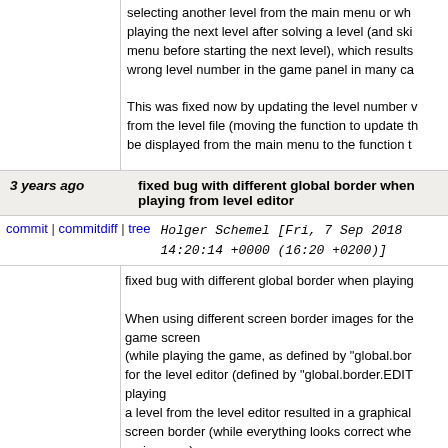selecting another level from the main menu or wh playing the next level after solving a level (and sk menu before starting the next level), which results wrong level number in the game panel in many ca
This was fixed now by updating the level number v from the level file (moving the function to update t be displayed from the main menu to the function t
3 years ago   fixed bug with different global border when playing from level editor
commit | commitdiff | tree   Holger Schemel [Fri, 7 Sep 2018 14:20:14 +0000 (16:20 +0200)]
fixed bug with different global border when playing

When using different screen border images for the game screen
(while playing the game, as defined by "global.bor for the level editor (defined by "global.border.EDIT playing
a level from the level editor resulted in a graphical screen border (while everything looks correct whe main menu).
3 years ago   improved preprocessor macro to determine array size
commit | commitdiff |    Holger Schemel [Tue, 4 Jun 2019